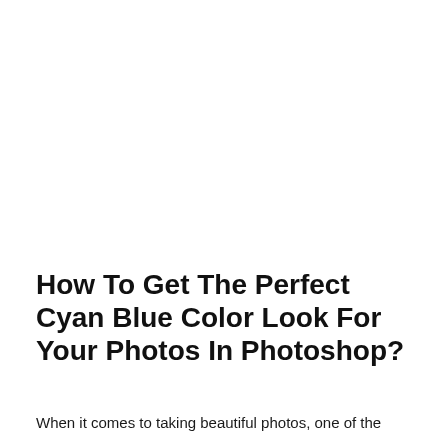How To Get The Perfect Cyan Blue Color Look For Your Photos In Photoshop?
When it comes to taking beautiful photos, one of the